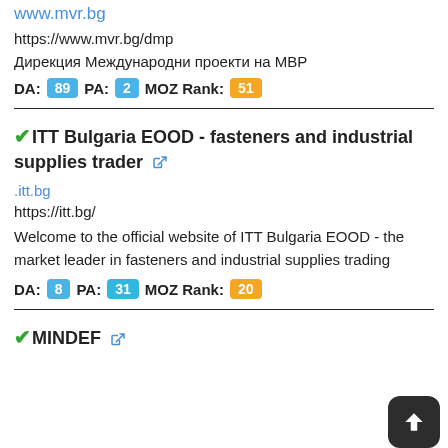www.mvr.bg
https://www.mvr.bg/dmp
Дирекция Международни проекти на МВР
DA: 89  PA: 2  MOZ Rank: 51
✔ITT Bulgaria EOOD - fasteners and industrial supplies trader 🔗
.itt.bg
https://itt.bg/
Welcome to the official website of ITT Bulgaria EOOD - the market leader in fasteners and industrial supplies trading
DA: 8  PA: 31  MOZ Rank: 20
✔MINDEF 🔗